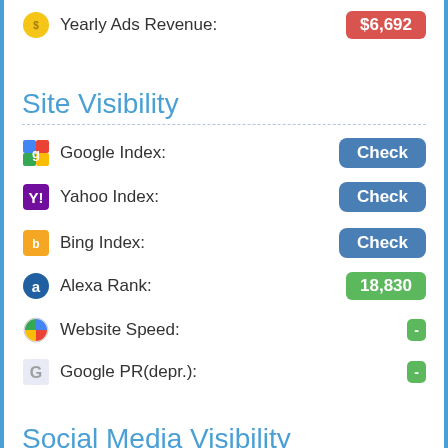Yearly Ads Revenue: $6,692
Site Visibility
Google Index: Check
Yahoo Index: Check
Bing Index: Check
Alexa Rank: 18,830
Website Speed: -
Google PR(depr.): -
Social Media Visibility